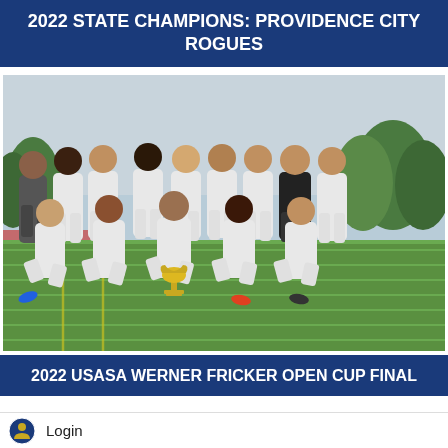2022 STATE CHAMPIONS: PROVIDENCE CITY ROGUES
[Figure (photo): Team photo of Providence City Rogues soccer team posing on a green turf field. Players wearing white jerseys with a sponsor logo. Back row standing, front row kneeling. A gold trophy cup is held in the center front. Trees and a track are visible in the background.]
2022 USASA WERNER FRICKER OPEN CUP FINAL
Login